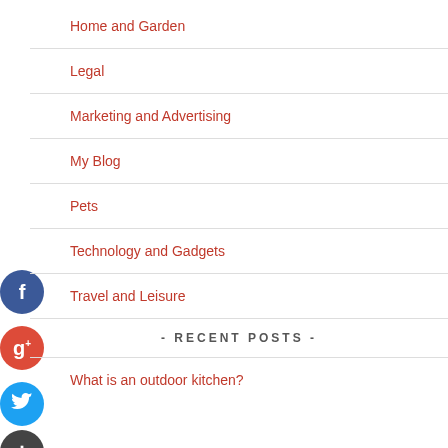Home and Garden
Legal
Marketing and Advertising
My Blog
Pets
Technology and Gadgets
Travel and Leisure
- RECENT POSTS -
What is an outdoor kitchen?